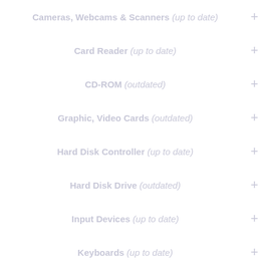Cameras, Webcams & Scanners (up to date)
Card Reader (up to date)
CD-ROM (outdated)
Graphic, Video Cards (outdated)
Hard Disk Controller (up to date)
Hard Disk Drive (outdated)
Input Devices (up to date)
Keyboards (up to date)